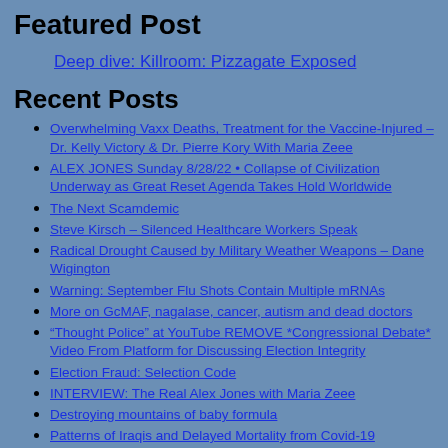Featured Post
Deep dive: Killroom: Pizzagate Exposed
Recent Posts
Overwhelming Vaxx Deaths, Treatment for the Vaccine-Injured – Dr. Kelly Victory & Dr. Pierre Kory With Maria Zeee
ALEX JONES Sunday 8/28/22 • Collapse of Civilization Underway as Great Reset Agenda Takes Hold Worldwide
The Next Scamdemic
Steve Kirsch – Silenced Healthcare Workers Speak
Radical Drought Caused by Military Weather Weapons – Dane Wigington
Warning: September Flu Shots Contain Multiple mRNAs
More on GcMAF, nagalase, cancer, autism and dead doctors
“Thought Police” at YouTube REMOVE *Congressional Debate* Video From Platform for Discussing Election Integrity
Election Fraud: Selection Code
INTERVIEW: The Real Alex Jones with Maria Zeee
Destroying mountains of baby formula
Patterns of Iraqis and Delayed Mortality from Covid-19